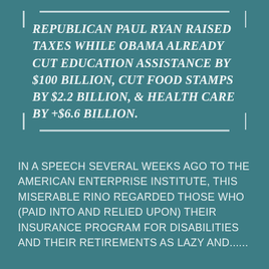REPUBLICAN PAUL RYAN RAISED TAXES WHILE OBAMA ALREADY CUT EDUCATION ASSISTANCE BY $100 BILLION, CUT FOOD STAMPS BY $2.2 BILLION, & HEALTH CARE BY +$6.6 BILLION.
IN A SPEECH SEVERAL WEEKS AGO TO THE AMERICAN ENTERPRISE INSTITUTE, THIS MISERABLE RINO REGARDED THOSE WHO (PAID INTO AND RELIED UPON) THEIR INSURANCE PROGRAM FOR DISABILITIES AND THEIR RETIREMENTS AS LAZY AND......